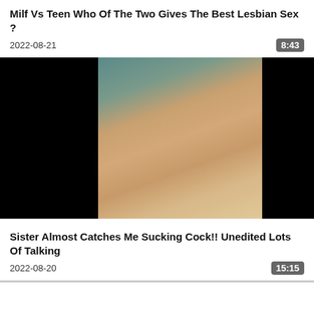Milf Vs Teen Who Of The Two Gives The Best Lesbian Sex ?
2022-08-21
8:43
[Figure (photo): Video thumbnail showing adult content, partially black on sides with center image visible]
Sister Almost Catches Me Sucking Cock!! Unedited Lots Of Talking
2022-08-20
15:15